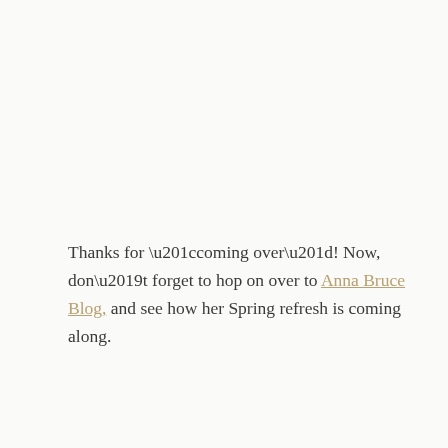Thanks for “coming over”! Now, don’t forget to hop on over to Anna Bruce Blog, and see how her Spring refresh is coming along.